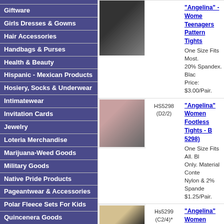Giftware
Girls Dresses & Gowns
Hair Accessories
Handbags & Purses
Health & Beauty
Hispanic - Mexican Products
Hosiery, Socks & Underwear
Intimatewear
Invitation Cards
Jewelry
Loteria Merchandise
Marijuana-Weed Goods
Military Goods
Native Pride Products
Pageantwear & Accessories
Polar Fleece Sets For Kids
Quincenera Goods
HS5298 (D2/2) - "Angelina" Women Footless Tights - B 5298. One Size Fits All. Bl Only. Material Conte Nylon & 2% Spande $1.25/Pair.
Hs5299 (C2/4)* - "Angelina" Women Footless Tights W White & Black. One Size Fits All. M Content: 88% Nylon Spandex. One Colo Pack. Unit Price: $2. Liquidation price: $1.
HS539W (D6/3) - "Swan" Mens Cott Socks - White - Siz H539). Size: 10-13. White C Shown. Material Co Cotton - 12% Polye Rubber. Unit Price: